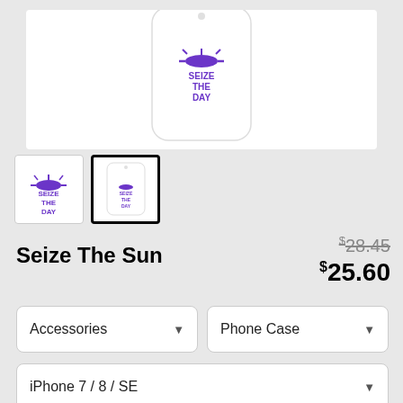[Figure (photo): Phone case product image showing white iPhone case with purple 'SEIZE THE DAY' text and sun logo]
[Figure (photo): Thumbnail 1: Flat logo version of Seize The Day in purple]
[Figure (photo): Thumbnail 2 (selected): Phone case with Seize The Day design]
Seize The Sun
$28.45 (original price, struck through)
$25.60 (sale price)
Accessories (dropdown)
Phone Case (dropdown)
iPhone 7 / 8 / SE (dropdown)